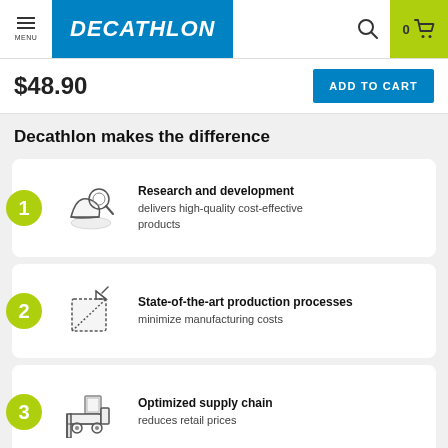MENU | DECATHLON | search | 0 cart
$48.90
ADD TO CART
Decathlon makes the difference
1 Research and development — delivers high-quality cost-effective products
2 State-of-the-art production processes — minimize manufacturing costs
3 Optimized supply chain — reduces retail prices